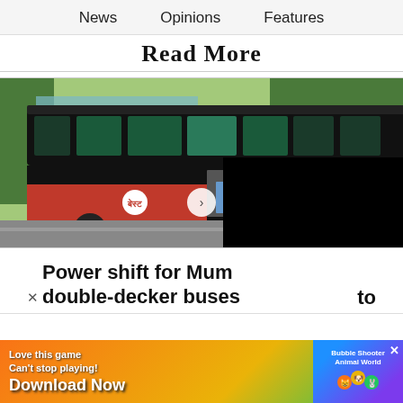News   Opinions   Features
Read More
[Figure (photo): A black and red double-decker bus (BEST Mumbai) on a street, with a navigation chevron/arrow button overlaid on the image, and a black rectangular overlay in the lower right portion of the image.]
Power shift for Mum[bai's] double-decker buses
[Figure (other): Advertisement banner: 'Love this game Can't stop playing! Download Now' with a mobile game graphic (Bubble Shooter Animal World) on an orange/yellow/green gradient background.]